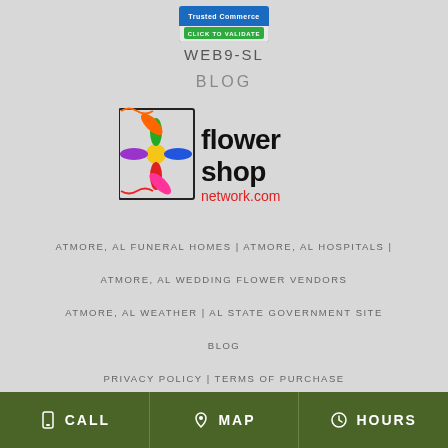[Figure (logo): Trusted Commerce - Click to Validate badge: blue and green rectangular badge]
WEB9-SL
BLOG
[Figure (logo): Flower Shop Network .com logo with colorful flower graphic]
ATMORE, AL FUNERAL HOMES | ATMORE, AL HOSPITALS |
ATMORE, AL WEDDING FLOWER VENDORS
ATMORE, AL WEATHER | AL STATE GOVERNMENT SITE
BLOG
PRIVACY POLICY | TERMS OF PURCHASE
CALL   MAP   HOURS